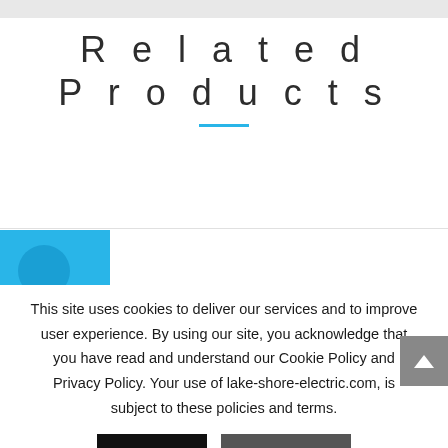Related Products
[Figure (other): Partial blue product card visible at left edge]
This site uses cookies to deliver our services and to improve user experience. By using our site, you acknowledge that you have read and understand our Cookie Policy and Privacy Policy. Your use of lake-shore-electric.com, is subject to these policies and terms.
Accept | Read More